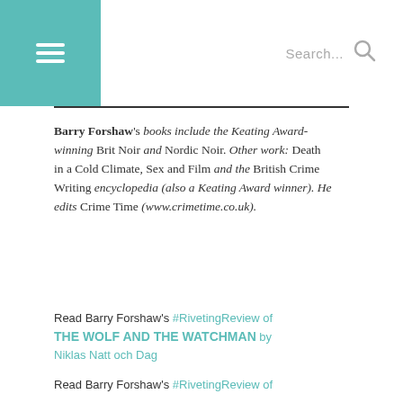≡  Search...
Barry Forshaw's books include the Keating Award-winning Brit Noir and Nordic Noir. Other work: Death in a Cold Climate, Sex and Film and the British Crime Writing encyclopedia (also a Keating Award winner). He edits Crime Time (www.crimetime.co.uk).
Read Barry Forshaw's #RivetingReview of THE WOLF AND THE WATCHMAN by Niklas Natt och Dag
Read Barry Forshaw's #RivetingReview of NIGHT by Bernard Minier
Read Barry Forshaw's #RivetingReview of